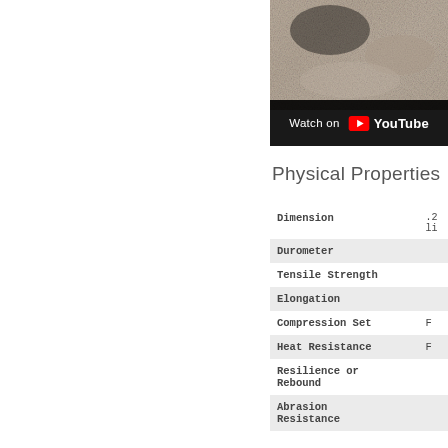[Figure (photo): Close-up texture photo of sandy/rocky granular material in gray-brown tones]
[Figure (screenshot): YouTube video thumbnail overlay with 'Watch on YouTube' text and YouTube logo on black background]
Physical Properties
| Property | Value |
| --- | --- |
| Dimension | .2
li |
| Durometer |  |
| Tensile Strength |  |
| Elongation |  |
| Compression Set | F |
| Heat Resistance | F |
| Resilience or Rebound |  |
| Abrasion Resistance |  |